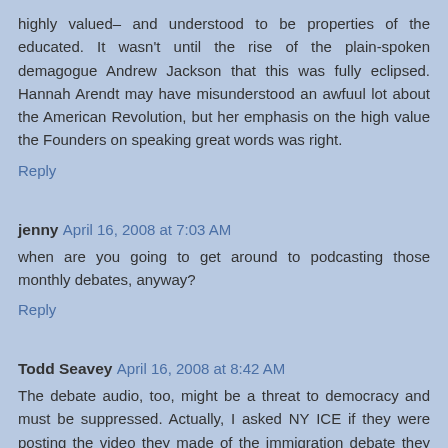highly valued– and understood to be properties of the educated. It wasn't until the rise of the plain-spoken demagogue Andrew Jackson that this was fully eclipsed. Hannah Arendt may have misunderstood an awfuul lot about the American Revolution, but her emphasis on the high value the Founders on speaking great words was right.
Reply
jenny April 16, 2008 at 7:03 AM
when are you going to get around to podcasting those monthly debates, anyway?
Reply
Todd Seavey April 16, 2008 at 8:42 AM
The debate audio, too, might be a threat to democracy and must be suppressed. Actually, I asked NY ICE if they were posting the video they made of the immigration debate they participated in, but have heard nothing yet, so to speak.